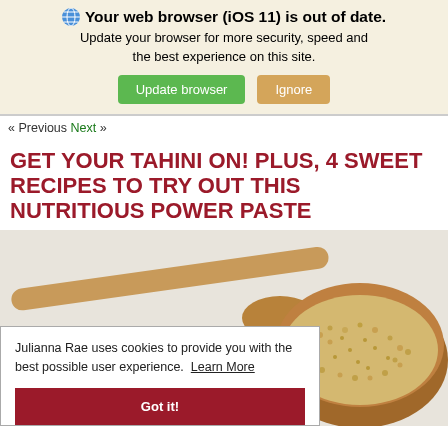Your web browser (iOS 11) is out of date. Update your browser for more security, speed and the best experience on this site. [Update browser] [Ignore]
« Previous Next »
GET YOUR TAHINI ON! PLUS, 4 SWEET RECIPES TO TRY OUT THIS NUTRITIOUS POWER PASTE
[Figure (photo): A wooden spoon and wooden bowl filled with sesame seeds on a light background]
Julianna Rae uses cookies to provide you with the best possible user experience. Learn More [Got it!]